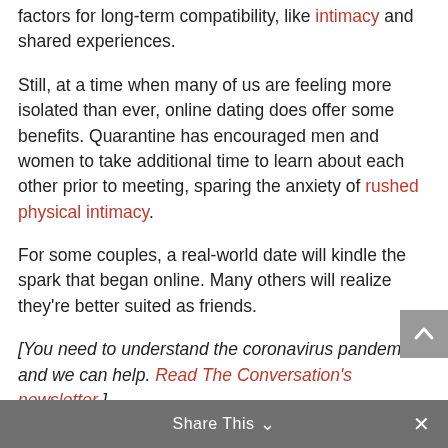factors for long-term compatibility, like intimacy and shared experiences.
Still, at a time when many of us are feeling more isolated than ever, online dating does offer some benefits. Quarantine has encouraged men and women to take additional time to learn about each other prior to meeting, sparing the anxiety of rushed physical intimacy.
For some couples, a real-world date will kindle the spark that began online. Many others will realize they're better suited as friends.
[You need to understand the coronavirus pandemic, and we can help. Read The Conversation's newsletter.]
Sheril Kirshenbaum, Associate Research Scientist, Michigan State University